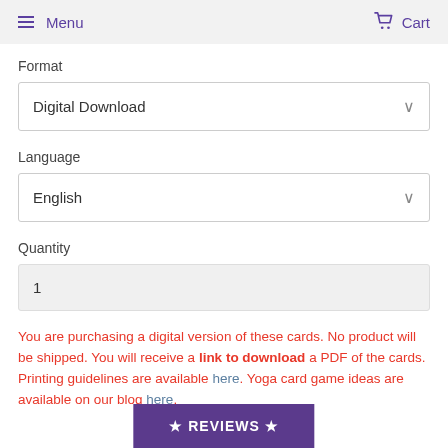Menu  Cart
Format
Digital Download
Language
English
Quantity
1
You are purchasing a digital version of these cards. No product will be shipped. You will receive a link to download a PDF of the cards. Printing guidelines are available here. Yoga card game ideas are available on our blog here.
★ REVIEWS ★